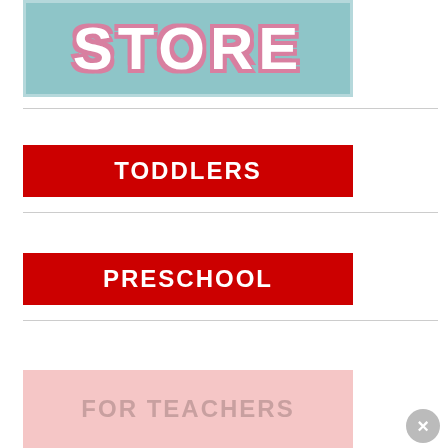[Figure (illustration): Teal/blue store sign with white bold text 'STORE' and pink shadow/outline effect, inside a bordered teal box]
TODDLERS
PRESCHOOL
FOR TEACHERS